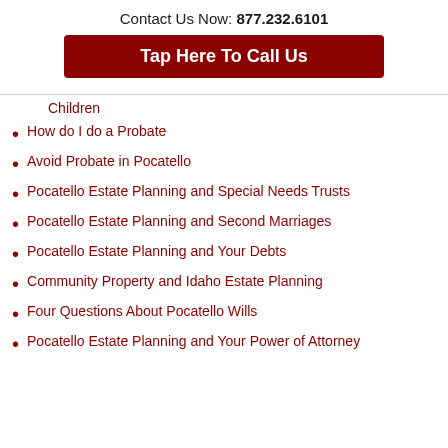Contact Us Now: 877.232.6101
Tap Here To Call Us
Children
How do I do a Probate
Avoid Probate in Pocatello
Pocatello Estate Planning and Special Needs Trusts
Pocatello Estate Planning and Second Marriages
Pocatello Estate Planning and Your Debts
Community Property and Idaho Estate Planning
Four Questions About Pocatello Wills
Pocatello Estate Planning and Your Power of Attorney